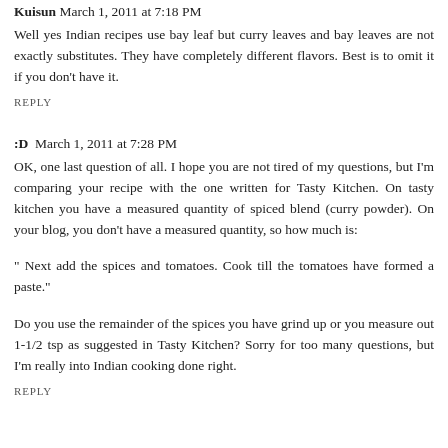Kuisun March 1, 2011 at 7:18 PM
Well yes Indian recipes use bay leaf but curry leaves and bay leaves are not exactly substitutes. They have completely different flavors. Best is to omit it if you don't have it.
REPLY
:D  March 1, 2011 at 7:28 PM
OK, one last question of all. I hope you are not tired of my questions, but I'm comparing your recipe with the one written for Tasty Kitchen. On tasty kitchen you have a measured quantity of spiced blend (curry powder). On your blog, you don't have a measured quantity, so how much is:
" Next add the spices and tomatoes. Cook till the tomatoes have formed a paste."
Do you use the remainder of the spices you have grind up or you measure out 1-1/2 tsp as suggested in Tasty Kitchen? Sorry for too many questions, but I'm really into Indian cooking done right.
REPLY